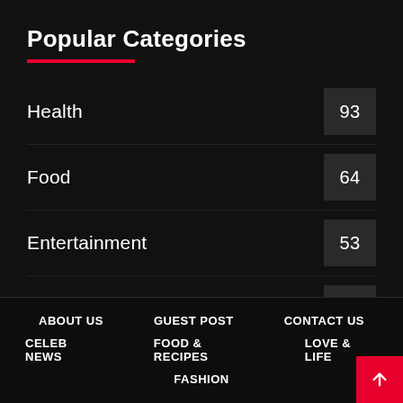Popular Categories
Health 93
Food 64
Entertainment 53
Interesting 46
Top 10 43
ABOUT US | GUEST POST | CONTACT US | CELEB NEWS | FOOD & RECIPES | LOVE & LIFE | FASHION